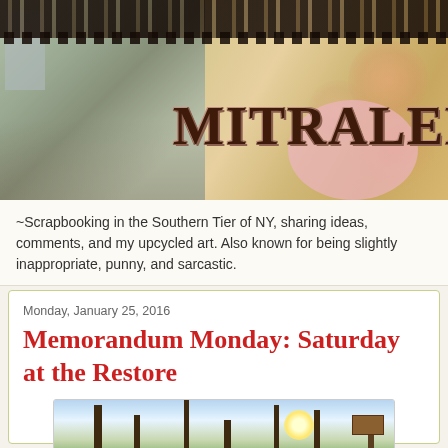[Figure (photo): Blog header banner showing family photo on left side with decorative scrapbook-style background including lace trim, floral patterns, and the blog title 'MITRALEE' in large decorative letters on the right side with a pink circular element]
~Scrapbooking in the Southern Tier of NY, sharing ideas, comments, and my upcycled art. Also known for being slightly inappropriate, punny, and sarcastic.
Monday, January 25, 2016
Memorandum Monday: Saturday at the Restore
[Figure (photo): Outdoor winter scene photo showing bare trees silhouetted against a light sky with sun, and a sign post visible on the right side]